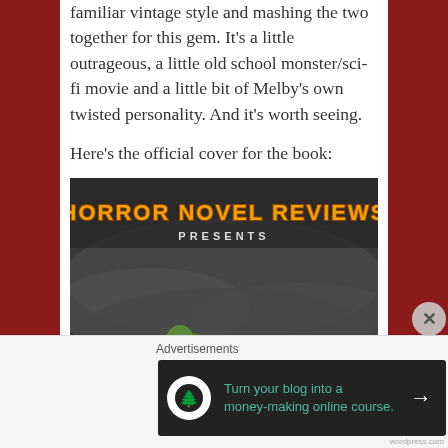familiar vintage style and mashing the two together for this gem. It's a little outrageous, a little old school monster/sci-fi movie and a little bit of Melby's own twisted personality. And it's worth seeing.
Here's the official cover for the book:
[Figure (illustration): Horror Novel Reviews book cover showing 'HORROR NOVEL REVIEWS PRESENTS ONE HELLACIOUS HALLOWEEN VOLUME I' with stylized horror typography on a dark smoky background with a green monster character.]
Advertisements
[Figure (other): Advertisement banner: Turn your blog into a money-making online course. Dark background with teal text and arrow button.]